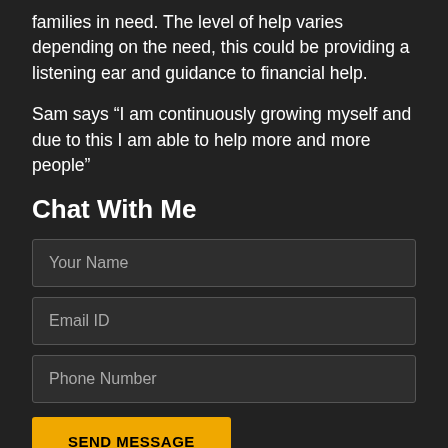families in need. The level of help varies depending on the need, this could be providing a listening ear and guidance to financial help.

Sam says “I am continuously growing myself and due to this I am able to help more and more people”
Chat With Me
Your Name
Email ID
Phone Number
SEND MESSAGE